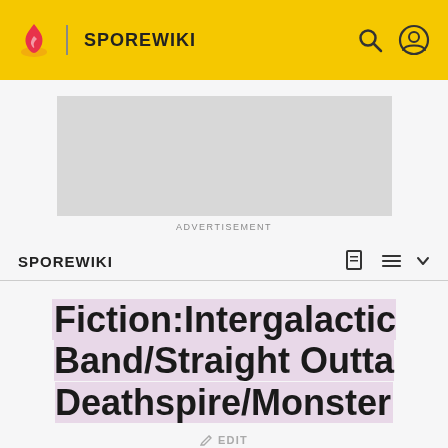SPOREWIKI
[Figure (other): Advertisement placeholder gray box]
ADVERTISEMENT
SPOREWIKI
Fiction:Intergalactic Band/Straight Outta Deathspire/Monster
EDIT
"Monster" is the third single of the album Straight